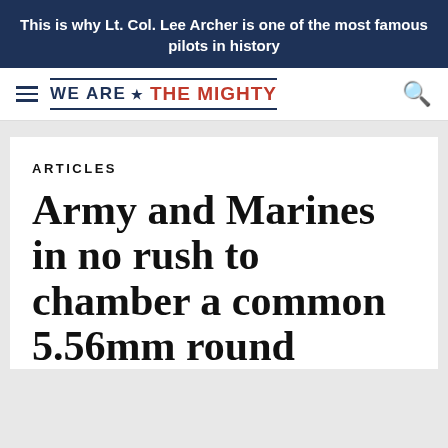This is why Lt. Col. Lee Archer is one of the most famous pilots in history
[Figure (logo): We Are The Mighty website logo with hamburger menu and search icon]
ARTICLES
Army and Marines in no rush to chamber a common 5.56mm round